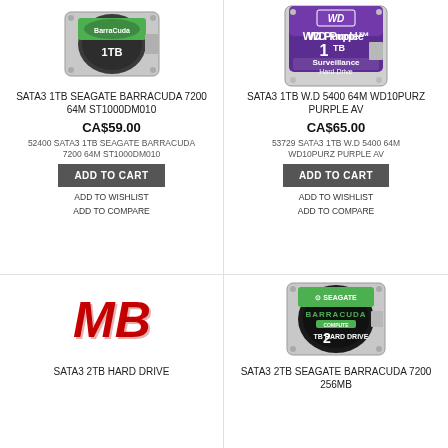[Figure (photo): Seagate BarraCuda 1TB SATA3 hard drive product photo]
SATA3 1TB SEAGATE BARRACUDA 7200 64M ST1000DM010
CA$59.00
52400 SATA3 1TB SEAGATE BARRACUDA 7200 64M ST1000DM010
ADD TO CART
ADD TO WISHLIST
ADD TO COMPARE
[Figure (photo): WD Purple 1TB Surveillance Hard Drive product photo]
SATA3 1TB W.D 5400 64M WD10PURZ PURPLE AV
CA$65.00
53729 SATA3 1TB W.D 5400 64M WD10PURZ PURPLE AV
ADD TO CART
ADD TO WISHLIST
ADD TO COMPARE
[Figure (logo): MB (Microboards) red logo]
SATA3 2TB HARD DRIVE
[Figure (photo): Seagate BarraCuda 2TB hard drive product photo]
SATA3 2TB SEAGATE BARRACUDA 7200 256MB